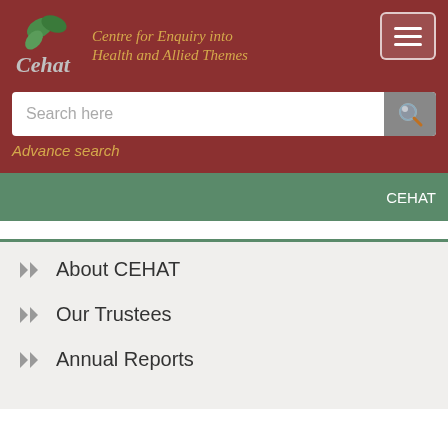[Figure (logo): CEHAT logo with green leaf design and site name 'Centre for Enquiry into Health and Allied Themes']
Search here
Advance search
CEHAT
About CEHAT
Our Trustees
Annual Reports